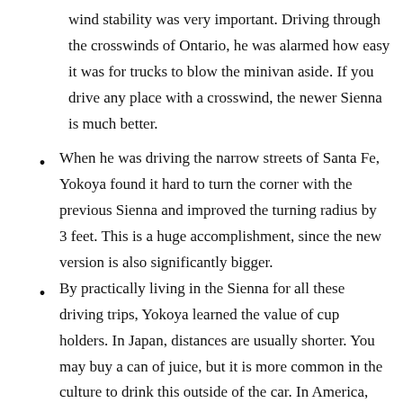wind stability was very important. Driving through the crosswinds of Ontario, he was alarmed how easy it was for trucks to blow the minivan aside. If you drive any place with a crosswind, the newer Sienna is much better.
When he was driving the narrow streets of Santa Fe, Yokoya found it hard to turn the corner with the previous Sienna and improved the turning radius by 3 feet. This is a huge accomplishment, since the new version is also significantly bigger.
By practically living in the Sienna for all these driving trips, Yokoya learned the value of cup holders. In Japan, distances are usually shorter. You may buy a can of juice, but it is more common in the culture to drink this outside of the car. In America, on a long trip, he learned it was common for one person to have one-half empty cup of coffee or bottle of water